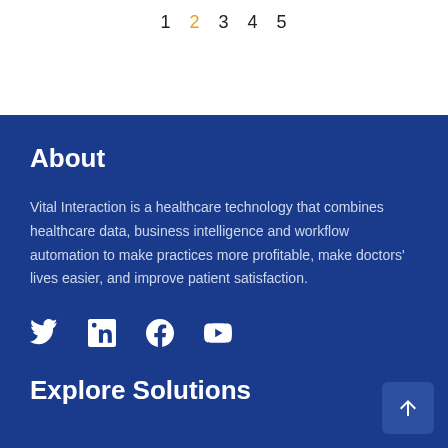1 2 3 4 5
About
Vital Interaction is a healthcare technology that combines healthcare data, business intelligence and workflow automation to make practices more profitable, make doctors' lives easier, and improve patient satisfaction.
[Figure (illustration): Social media icons: Twitter, LinkedIn, Facebook, YouTube]
Explore Solutions